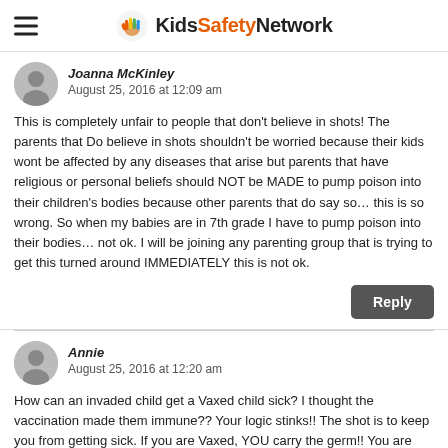KidsSafetyNetwork
Joanna McKinley
August 25, 2016 at 12:09 am
This is completely unfair to people that don't believe in shots! The parents that Do believe in shots shouldn't be worried because their kids wont be affected by any diseases that arise but parents that have religious or personal beliefs should NOT be MADE to pump poison into their children's bodies because other parents that do say so… this is so wrong. So when my babies are in 7th grade I have to pump poison into their bodies… not ok. I will be joining any parenting group that is trying to get this turned around IMMEDIATELY this is not ok.
Annie
August 25, 2016 at 12:20 am
How can an invaded child get a Vaxed child sick? I thought the vaccination made them immune?? Your logic stinks!! The shot is to keep you from getting sick. If you are Vaxed, YOU carry the germ!! You are more of a threat to an unvaxed person. An unvaxed person should not be able to get a Vaxed